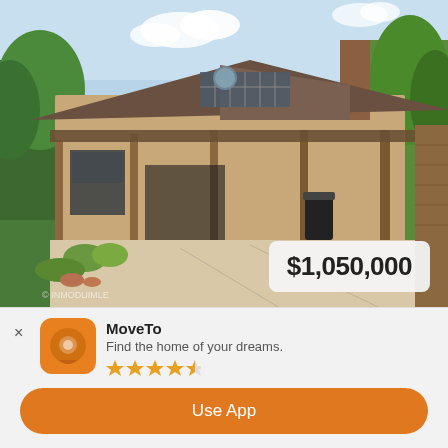[Figure (photo): Exterior photo of a single-story brick house with a covered carport/patio area and desert landscaping, showing a driveway and green trees]
$1,050,000
345 Smith Rd, Sedona
4 BEDS  2 BATHS  531093 MLS
MoveTo
Find the home of your dreams.
★★★★☆
Use App